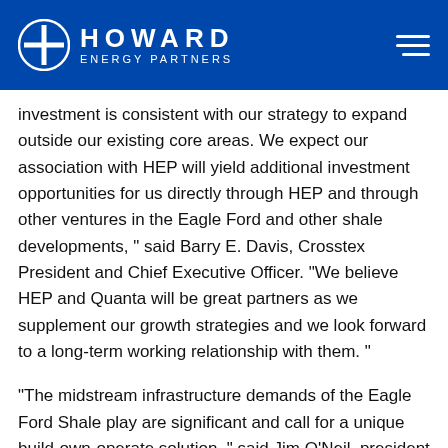HOWARD ENERGY PARTNERS
investment is consistent with our strategy to expand outside our existing core areas. We expect our association with HEP will yield additional investment opportunities for us directly through HEP and through other ventures in the Eagle Ford and other shale developments, " said Barry E. Davis, Crosstex President and Chief Executive Officer. "We believe HEP and Quanta will be great partners as we supplement our growth strategies and we look forward to a long-term working relationship with them. "
“The midstream infrastructure demands of the Eagle Ford Shale play are significant and call for a unique build-own-operate solution, " said Jim O’Neil, president and CEO of Quanta Services. "The partnership of Howard Energy Partners, Crosstex and Quanta combines pr oven midstream development experience, project capital and deep construction and program management capabilities to deliver total solutions to their mainline infrastructure...